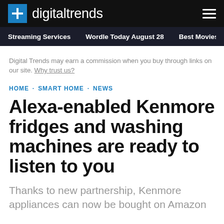digitaltrends
Streaming Services · Wordle Today August 28 · Best Movies c
Digital Trends may earn a commission when you buy through links on our site. Why trust us?
HOME · SMART HOME · NEWS
Alexa-enabled Kenmore fridges and washing machines are ready to listen to you
Thanks to new partnership, Kenmore appliances can now be bought on Amazon